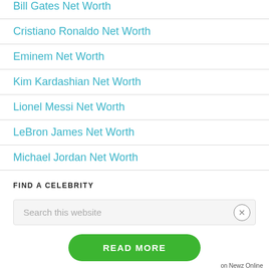Bill Gates Net Worth
Cristiano Ronaldo Net Worth
Eminem Net Worth
Kim Kardashian Net Worth
Lionel Messi Net Worth
LeBron James Net Worth
Michael Jordan Net Worth
FIND A CELEBRITY
Search this website
READ MORE
on Newz Online